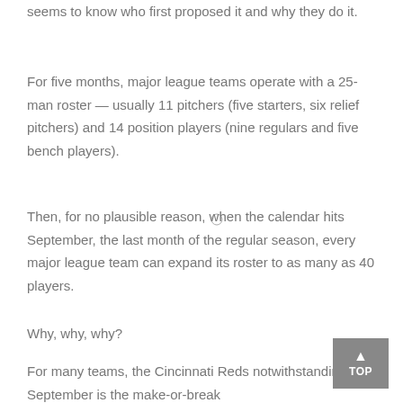seems to know who first proposed it and why they do it.
For five months, major league teams operate with a 25-man roster — usually 11 pitchers (five starters, six relief pitchers) and 14 position players (nine regulars and five bench players).
Then, for no plausible reason, when the calendar hits September, the last month of the regular season, every major league team can expand its roster to as many as 40 players.
Why, why, why?
For many teams, the Cincinnati Reds notwithstanding, September is the make-or-break